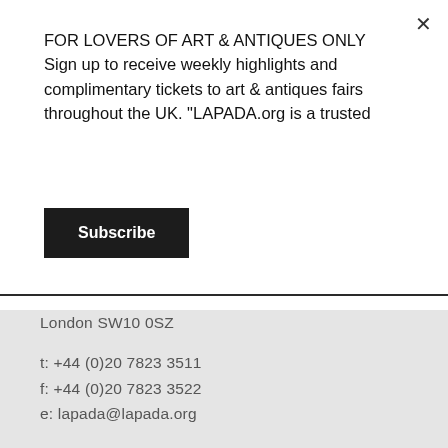FOR LOVERS OF ART & ANTIQUES ONLY Sign up to receive weekly highlights and complimentary tickets to art & antiques fairs throughout the UK. "LAPADA.org is a trusted
Subscribe
London SW10 0SZ
t: +44 (0)20 7823 3511
f: +44 (0)20 7823 3522
e: lapada@lapada.org
ABOUT
MEMBERS LOGIN
WHAT IS LAPADA
NEWS AND BLOG